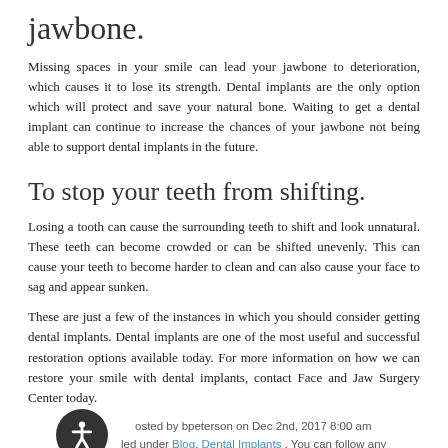jawbone.
Missing spaces in your smile can lead your jawbone to deterioration, which causes it to lose its strength. Dental implants are the only option which will protect and save your natural bone. Waiting to get a dental implant can continue to increase the chances of your jawbone not being able to support dental implants in the future.
To stop your teeth from shifting.
Losing a tooth can cause the surrounding teeth to shift and look unnatural. These teeth can become crowded or can be shifted unevenly. This can cause your teeth to become harder to clean and can also cause your face to sag and appear sunken.
These are just a few of the instances in which you should consider getting dental implants. Dental implants are one of the most useful and successful restoration options available today. For more information on how we can restore your smile with dental implants, contact Face and Jaw Surgery Center today.
Posted by bpeterson on Dec 2nd, 2017 8:00 am
Filed under Blog, Dental Implants . You can follow any responses to this entry through the RSS 2.0 feed. Both comments and pings are currently closed.